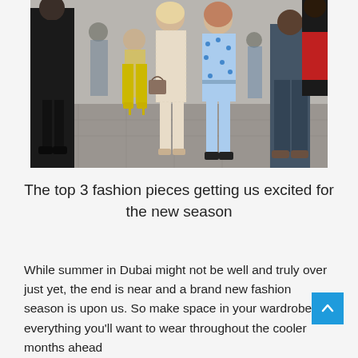[Figure (photo): Street fashion photo showing people walking, two women in the center wearing stylish outfits — one in a beige lace jumpsuit holding a handbag, another in a blue floral print outfit. Background shows more pedestrians and an urban street setting.]
The top 3 fashion pieces getting us excited for the new season
While summer in Dubai might not be well and truly over just yet, the end is near and a brand new fashion season is upon us. So make space in your wardrobe for everything you'll want to wear throughout the cooler months ahead